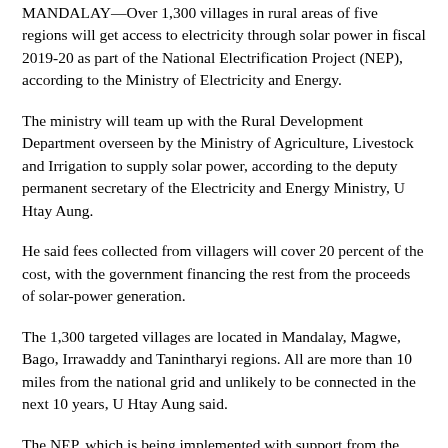MANDALAY—Over 1,300 villages in rural areas of five regions will get access to electricity through solar power in fiscal 2019-20 as part of the National Electrification Project (NEP), according to the Ministry of Electricity and Energy.
The ministry will team up with the Rural Development Department overseen by the Ministry of Agriculture, Livestock and Irrigation to supply solar power, according to the deputy permanent secretary of the Electricity and Energy Ministry, U Htay Aung.
He said fees collected from villagers will cover 20 percent of the cost, with the government financing the rest from the proceeds of solar-power generation.
The 1,300 targeted villages are located in Mandalay, Magwe, Bago, Irrawaddy and Tanintharyi regions. All are more than 10 miles from the national grid and unlikely to be connected in the next 10 years, U Htay Aung said.
The NEP, which is being implemented with support from the